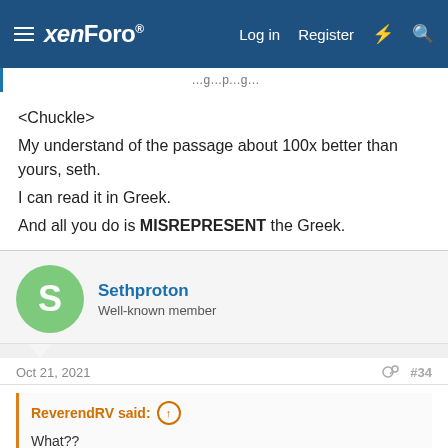xenForo | Log in | Register
<Chuckle>
My understand of the passage about 100x better than yours, seth.
I can read it in Greek.
And all you do is MISREPRESENT the Greek.
Sethproton
Well-known member
Oct 21, 2021 #34
ReverendRV said:
What??

The reason you don't understand is because you have a Contradiction in your Paradigm. You are just two moves away from being Checkmated.